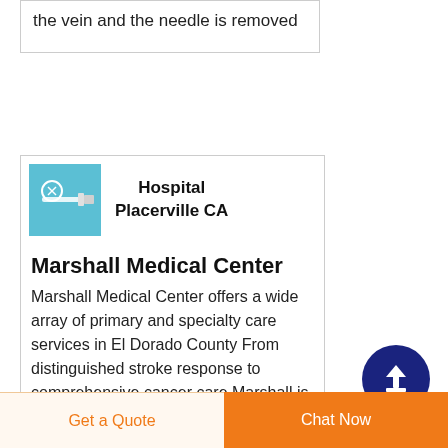the vein and the needle is removed
[Figure (other): Medical product image (catheter/needle) on blue background]
Hospital Placerville CA
Marshall Medical Center
Marshall Medical Center offers a wide array of primary and specialty care services in El Dorado County From distinguished stroke response to comprehensive cancer care Marshall is able to address many of the complex medical...
Get a Quote
Chat Now